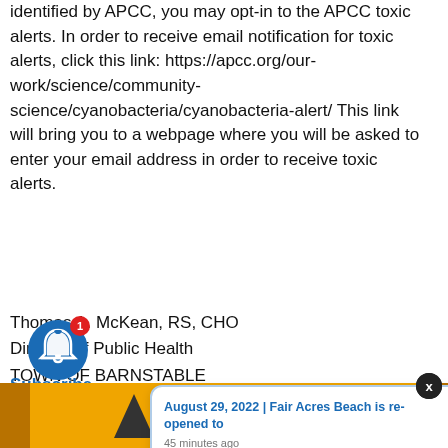identified by APCC, you may opt-in to the APCC toxic alerts. In order to receive email notification for toxic alerts, click this link: https://apcc.org/our-work/science/community-science/cyanobacteria/cyanobacteria-alert/ This link will bring you to a webpage where you will be asked to enter your email address in order to receive toxic alerts.
Thomas A. McKean, RS, CHO
Director of Public Health
TOWN OF BARNSTABLE
Subscribe
[Figure (screenshot): Popup notification showing 'August 29, 2022 | Fair Acres Beach is re-opened to' with '45 minutes ago' timestamp, blue border, white background. A close X button in black circle top right. Blue notification bell icon with red badge showing '1' on bottom left.]
[Figure (illustration): Barnstable logo area — orange background with dark triangle/arrow icon and 'BARNSTABLE' text in bold, flanked by darker orange side bars.]